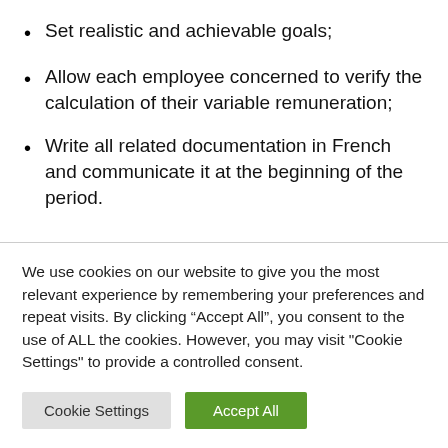Set realistic and achievable goals;
Allow each employee concerned to verify the calculation of their variable remuneration;
Write all related documentation in French and communicate it at the beginning of the period.
We use cookies on our website to give you the most relevant experience by remembering your preferences and repeat visits. By clicking “Accept All”, you consent to the use of ALL the cookies. However, you may visit "Cookie Settings" to provide a controlled consent.
Cookie Settings | Accept All